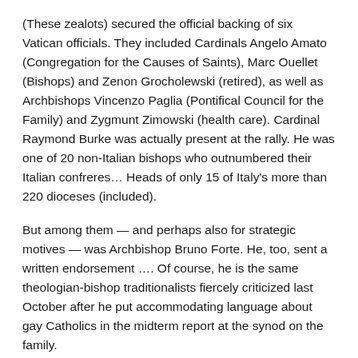(These zealots) secured the official backing of six Vatican officials. They included Cardinals Angelo Amato (Congregation for the Causes of Saints), Marc Ouellet (Bishops) and Zenon Grocholewski (retired), as well as Archbishops Vincenzo Paglia (Pontifical Council for the Family) and Zygmunt Zimowski (health care). Cardinal Raymond Burke was actually present at the rally. He was one of 20 non-Italian bishops who outnumbered their Italian confreres... Heads of only 15 of Italy's more than 220 dioceses (included).
But among them — and perhaps also for strategic motives — was Archbishop Bruno Forte. He, too, sent a written endorsement .... Of course, he is the same theologian-bishop traditionalists fiercely criticized last October after he put accommodating language about gay Catholics in the midterm report at the synod on the family.